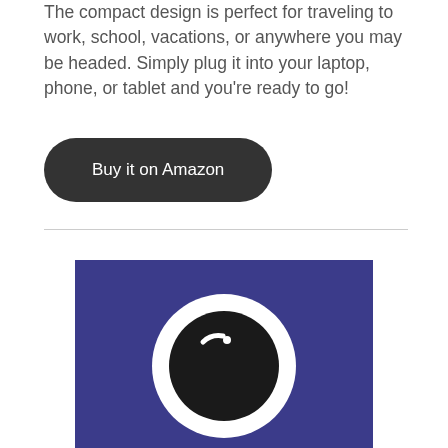The compact design is perfect for traveling to work, school, vacations, or anywhere you may be headed. Simply plug it into your laptop, phone, or tablet and you're ready to go!
[Figure (illustration): Dark button with rounded corners on white background, text reading 'Buy it on Amazon']
[Figure (logo): App icon or logo on dark purple/indigo background featuring a white circle ring with a dark circular lens/ball inside, suggesting a camera or eye motif]